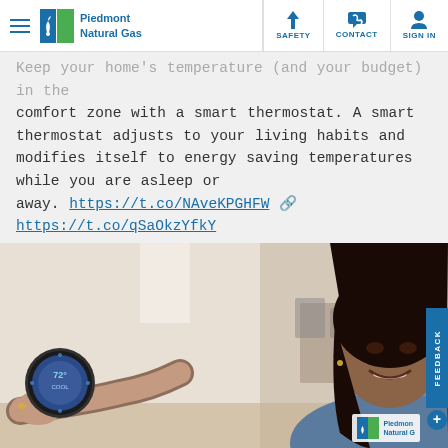Piedmont Natural Gas | SAFETY | CONTACT | SIGN IN
Keep your home's temperature (and your budget) in the comfort zone with a smart thermostat. A smart thermostat adjusts to your living habits and modifies itself to energy saving temperatures while you are asleep or away. https://t.co/NAveKPGHFW 🔗 https://t.co/qSaOkzYfkY
[Figure (photo): A smiling woman with long dark hair adjusting a round smart thermostat mounted on a white wall. She is wearing a denim top and a smartwatch. A bright room is visible in the background. Piedmont Natural Gas logo appears in the lower right corner of the photo.]